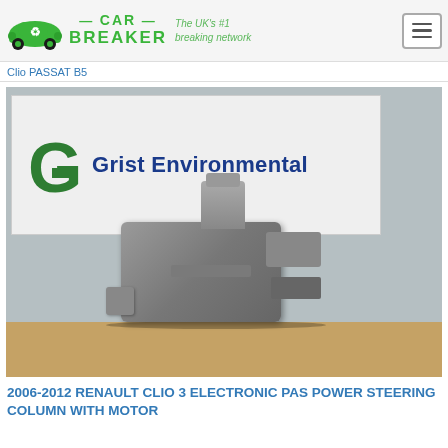CAR BREAKER — The UK's #1 breaking network
Clio PASSAT B5
[Figure (photo): Photo of a 2006-2012 Renault Clio 3 electronic PAS power steering column with motor, placed on a wooden surface in front of a Grist Environmental branded sign/box.]
2006-2012 RENAULT CLIO 3 ELECTRONIC PAS POWER STEERING COLUMN WITH MOTOR